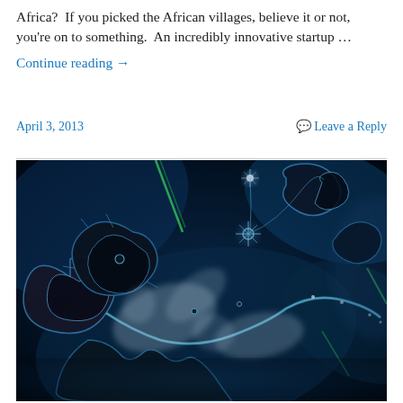Africa?  If you picked the African villages, believe it or not, you're on to something.  An incredibly innovative startup …
Continue reading →
April 3, 2013
Leave a Reply
[Figure (illustration): A digital fractal art image featuring swirling blue, white, black, and green patterns forming elaborate spiral and tentacle-like structures on a dark background.]